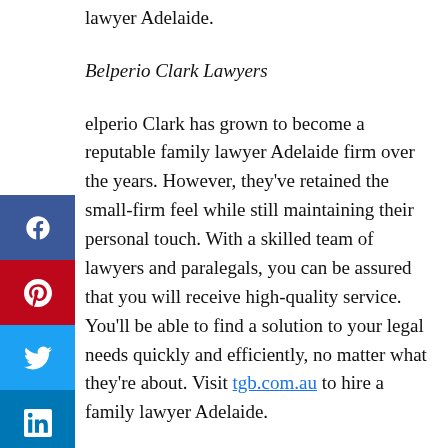lawyer Adelaide.
Belperio Clark Lawyers
Belperio Clark has grown to become a reputable family lawyer Adelaide firm over the years. However, they've retained the small-firm feel while still maintaining their personal touch. With a skilled team of lawyers and paralegals, you can be assured that you will receive high-quality service. You'll be able to find a solution to your legal needs quickly and efficiently, no matter what they're about. Visit tgb.com.au to hire a family lawyer Adelaide.
With experience in all aspects of family law, the lawyers at Belperio Clark Lawyers can provide you with the legal support and advice you need during this difficult time.